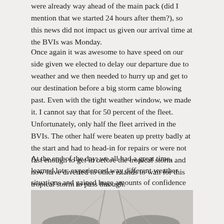were already way ahead of the main pack (did I mention that we started 24 hours after them?), so this news did not impact us given our arrival time at the BVIs was Monday.
Once again it was awesome to have speed on our side given we elected to delay our departure due to weather and we then needed to hurry up and get to our destination before a big storm came blowing past. Even with the tight weather window, we made it. I cannot say that for 50 percent of the fleet. Unfortunately, only half the fleet arrived in the BVIs. The other half were beaten up pretty badly at the start and had to head-in for repairs or were not fast enough to get in before the tropical storm and now have diverted to other islands to wait for this tropical storm to pass through.
At the end of the day, we all had a great time, learned lots, experienced way different weather situations and gained huge amounts of confidence in the boat and ourselves.
[Figure (photo): Partial photo of sailboats with masts visible against a light background, showing hulls and rigging]